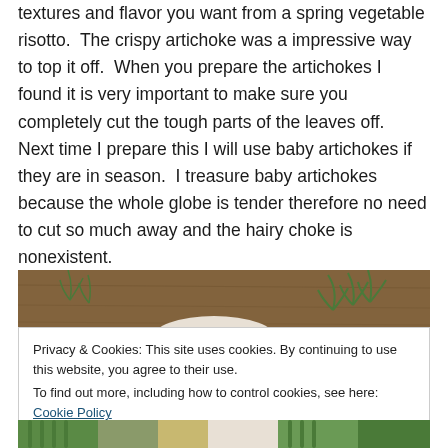textures and flavor you want from a spring vegetable risotto.  The crispy artichoke was a impressive way to top it off.  When you prepare the artichokes I found it is very important to make sure you completely cut the tough parts of the leaves off.  Next time I prepare this I will use baby artichokes if they are in season.  I treasure baby artichokes because the whole globe is tender therefore no need to cut so much away and the hairy choke is nonexistent.
[Figure (photo): Top portion of a food photo showing a wooden surface with green herb sprigs and the top of a white bowl or plate]
Privacy & Cookies: This site uses cookies. By continuing to use this website, you agree to their use.
To find out more, including how to control cookies, see here: Cookie Policy
[Close and accept button]
[Figure (photo): Bottom strip of a food photo showing vegetables including green asparagus and other spring vegetables]